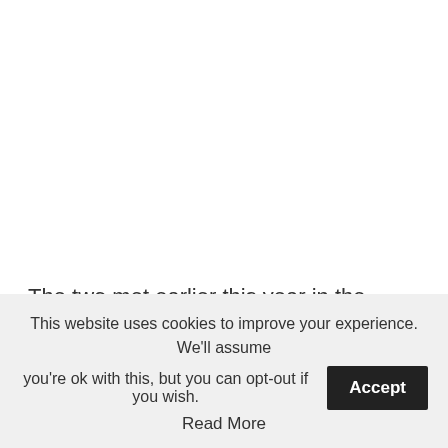The two met earlier this year in the quarterfinals of Roland Garros, where the Spaniard triumphed en route to his
This website uses cookies to improve your experience. We'll assume you're ok with this, but you can opt-out if you wish. Accept Read More